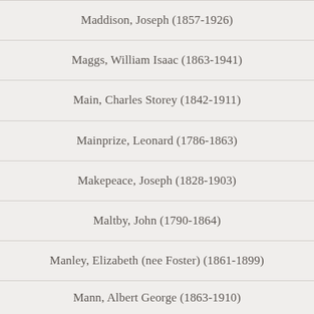Maddison, Joseph (1857-1926)
Maggs, William Isaac (1863-1941)
Main, Charles Storey (1842-1911)
Mainprize, Leonard (1786-1863)
Makepeace, Joseph (1828-1903)
Maltby, John (1790-1864)
Manley, Elizabeth (nee Foster) (1861-1899)
Mann, Albert George (1863-1910)